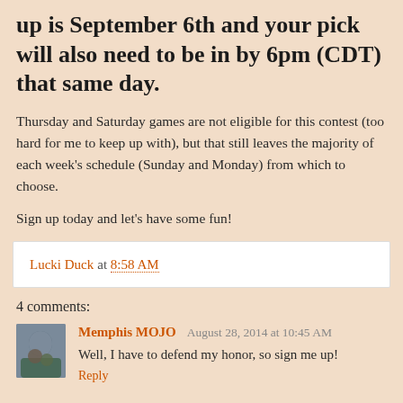up is September 6th and your pick will also need to be in by 6pm (CDT) that same day.
Thursday and Saturday games are not eligible for this contest (too hard for me to keep up with), but that still leaves the majority of each week's schedule (Sunday and Monday) from which to choose.
Sign up today and let's have some fun!
Lucki Duck at 8:58 AM
4 comments:
Memphis MOJO August 28, 2014 at 10:45 AM
Well, I have to defend my honor, so sign me up!
Reply